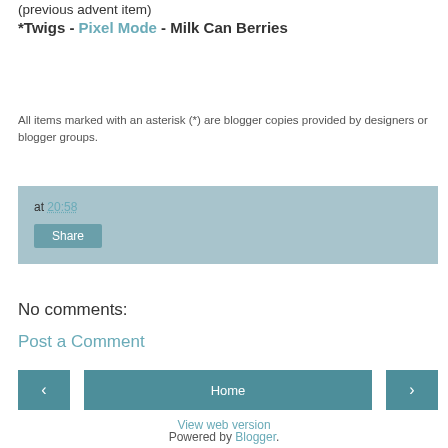(previous advent item)
*Twigs - Pixel Mode - Milk Can Berries
All items marked with an asterisk (*) are blogger copies provided by designers or blogger groups.
at 20:58
Share
No comments:
Post a Comment
‹
Home
›
View web version
Powered by Blogger.